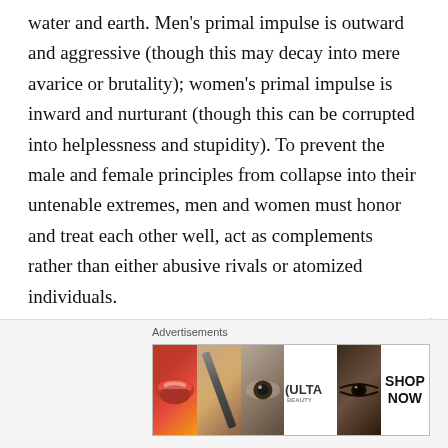water and earth. Men's primal impulse is outward and aggressive (though this may decay into mere avarice or brutality); women's primal impulse is inward and nurturant (though this can be corrupted into helplessness and stupidity). To prevent the male and female principles from collapse into their untenable extremes, men and women must honor and treat each other well, act as complements rather than either abusive rivals or atomized individuals.
[Figure (other): Advertisement banner for ULTA beauty showing makeup imagery (lips, brush, eye, ULTA logo, eyes, SHOP NOW text) with a close button]